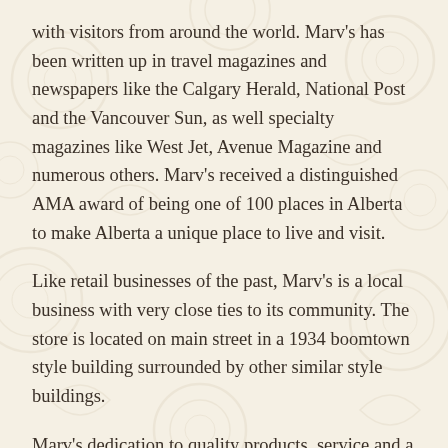with visitors from around the world. Marv's has been written up in travel magazines and newspapers like the Calgary Herald, National Post and the Vancouver Sun, as well specialty magazines like West Jet, Avenue Magazine and numerous others. Marv's received a distinguished AMA award of being one of 100 places in Alberta to make Alberta a unique place to live and visit.
Like retail businesses of the past, Marv's is a local business with very close ties to its community. The store is located on main street in a 1934 boomtown style building surrounded by other similar style buildings.
Marv's dedication to quality products, service and a family oriented atmosphere contribute to make Marv's a destination location for day traffic as well as tourists alike.